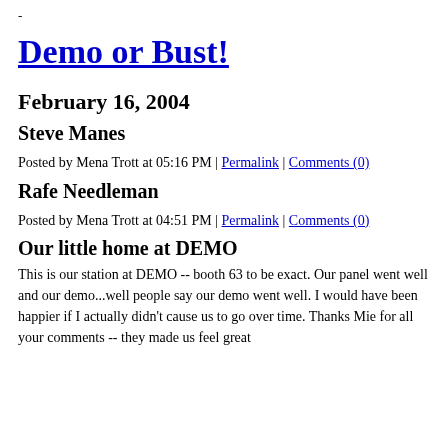-
Demo or Bust!
February 16, 2004
Steve Manes
Posted by Mena Trott at 05:16 PM | Permalink | Comments (0)
Rafe Needleman
Posted by Mena Trott at 04:51 PM | Permalink | Comments (0)
Our little home at DEMO
This is our station at DEMO -- booth 63 to be exact. Our panel went well and our demo...well people say our demo went well. I would have been happier if I actually didn't cause us to go over time. Thanks Mie for all your comments -- they made us feel great